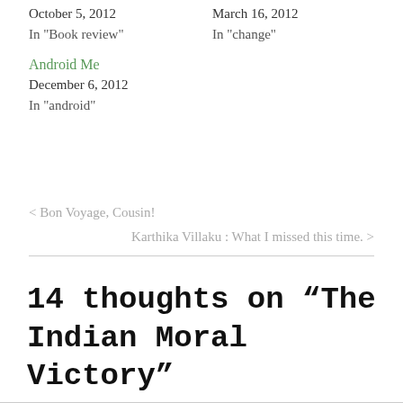October 5, 2012
In "Book review"
March 16, 2012
In "change"
Android Me
December 6, 2012
In "android"
< Bon Voyage, Cousin!
Karthika Villaku : What I missed this time. >
14 thoughts on “The Indian Moral Victory”